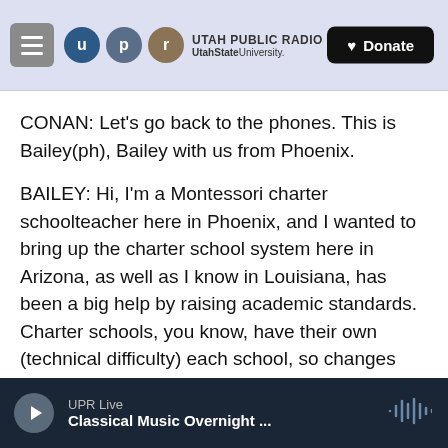Utah Public Radio — UtahStateUniversity. Donate
CONAN: Let's go back to the phones. This is Bailey(ph), Bailey with us from Phoenix.
BAILEY: Hi, I'm a Montessori charter schoolteacher here in Phoenix, and I wanted to bring up the charter school system here in Arizona, as well as I know in Louisiana, has been a big help by raising academic standards. Charter schools, you know, have their own (technical difficulty) each school, so changes can actually be made faster within the school because you have such a small body overseeing it.
UPR Live — Classical Music Overnight ...